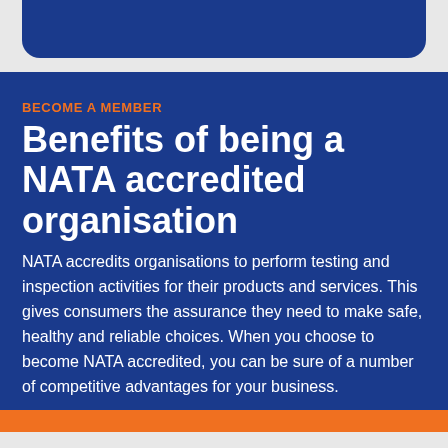BECOME A MEMBER
Benefits of being a NATA accredited organisation
NATA accredits organisations to perform testing and inspection activities for their products and services. This gives consumers the assurance they need to make safe, healthy and reliable choices. When you choose to become NATA accredited, you can be sure of a number of competitive advantages for your business.